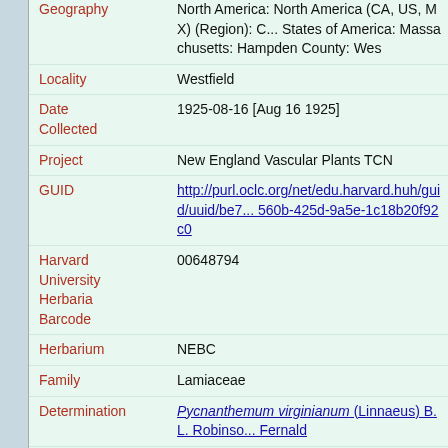| Field | Value |
| --- | --- |
| Geography | North America: North America (CA, US, MX) (Region): United States of America: Massachusetts: Hampden County: Wes... |
| Locality | Westfield |
| Date Collected | 1925-08-16 [Aug 16 1925] |
| Project | New England Vascular Plants TCN |
| GUID | http://purl.oclc.org/net/edu.harvard.huh/guid/uuid/be7... 560b-425d-9a5e-1c18b20f92c0 |
| Harvard University Herbaria Barcode | 00648794 |
| Herbarium | NEBC |
| Family | Lamiaceae |
| Determination | Pycnanthemum virginianum (Linnaeus) B. L. Robinson & Fernald |
| Determination Remarks | [is filed under name] [is Current name] |
| Preparation Type | Sheet |
| Preparation Method | Pressed |